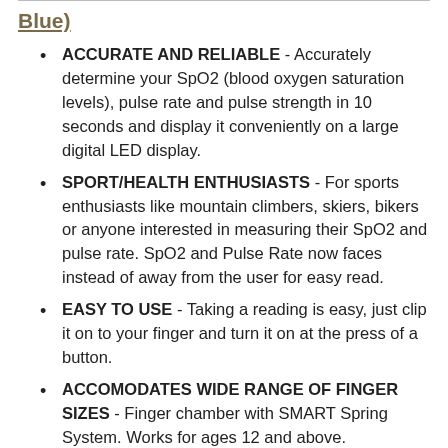Blue)
ACCURATE AND RELIABLE - Accurately determine your SpO2 (blood oxygen saturation levels), pulse rate and pulse strength in 10 seconds and display it conveniently on a large digital LED display.
SPORT/HEALTH ENTHUSIASTS - For sports enthusiasts like mountain climbers, skiers, bikers or anyone interested in measuring their SpO2 and pulse rate. SpO2 and Pulse Rate now faces instead of away from the user for easy read.
EASY TO USE - Taking a reading is easy, just clip it on to your finger and turn it on at the press of a button.
ACCOMODATES WIDE RANGE OF FINGER SIZES - Finger chamber with SMART Spring System. Works for ages 12 and above.